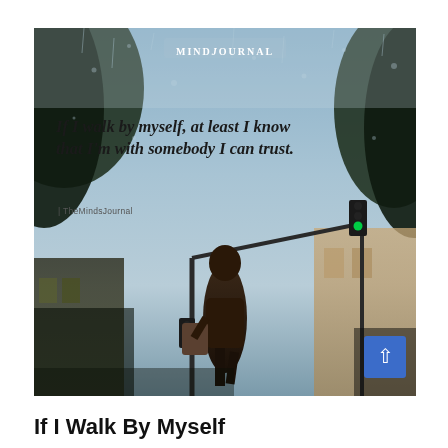[Figure (photo): A rainy street scene reflected in a puddle or wet surface, showing a person walking carrying a bag, traffic lights showing green, buildings, viewed through rain-speckled glass. Quote text overlaid: 'If I walk by myself, at least I know that I'm with somebody I can trust.' with attribution 'TheMindsJournal'. MindJournal logo at top center.]
If I Walk By Myself